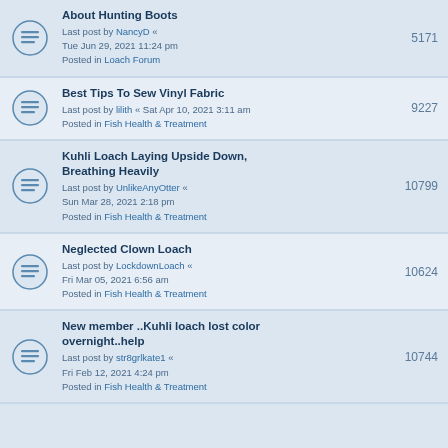About Hunting Boots
Last post by NancyD « Tue Jun 29, 2021 11:24 pm
Posted in Loach Forum
5171
Best Tips To Sew Vinyl Fabric
Last post by lilith « Sat Apr 10, 2021 3:11 am
Posted in Fish Health & Treatment
9227
Kuhli Loach Laying Upside Down, Breathing Heavily
Last post by UnlikeAnyOtter « Sun Mar 28, 2021 2:18 pm
Posted in Fish Health & Treatment
10799
Neglected Clown Loach
Last post by LockdownLoach « Fri Mar 05, 2021 6:56 am
Posted in Fish Health & Treatment
10624
New member ..Kuhli loach lost color overnight..help
Last post by str8grlkate1 « Fri Feb 12, 2021 4:24 pm
Posted in Fish Health & Treatment
10744